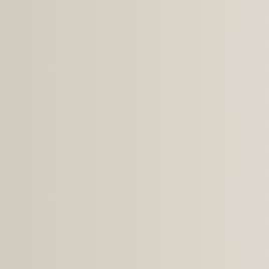[Figure (photo): Left portion of page showing a photo/illustration, partially visible at left edge, with beige/cream textured background]
intensification restrained.
Love and... day, the fo... happy nea... lunar day t... relationship... about. It's
Housew
labor, econ
Busine
in business beginnings work and talents. In to achieve not give so will take aw
Dream
This is how indication, what need